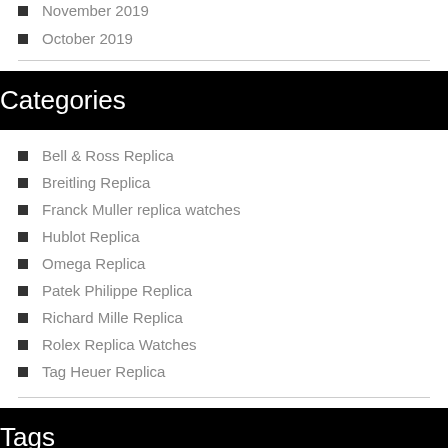November 2019
October 2019
Categories
Bell & Ross Replica
Breitling Replica
Franck Muller replica watches
Hublot Replica
Omega Replica
Patek Philippe Replica
Richard Mille Replica
Rolex Replica Watches
Tag Heuer Replica
Tags